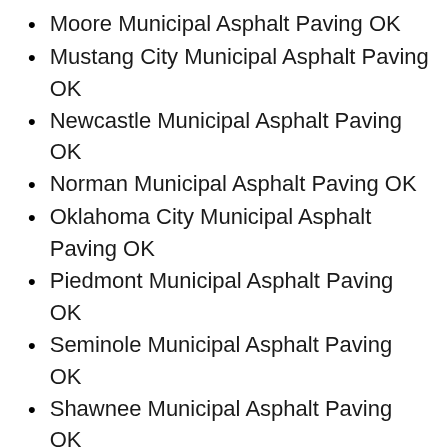Moore Municipal Asphalt Paving OK
Mustang City Municipal Asphalt Paving OK
Newcastle Municipal Asphalt Paving OK
Norman Municipal Asphalt Paving OK
Oklahoma City Municipal Asphalt Paving OK
Piedmont Municipal Asphalt Paving OK
Seminole Municipal Asphalt Paving OK
Shawnee Municipal Asphalt Paving OK
Tecumseh Municipal Asphalt Paving OK
Tuttle Municipal Asphalt Paving OK
Yukon Municipal Asphalt Paving OK
Bethany New Construction OK
Chickasha New Construction OK
Choctaw New Construction OK